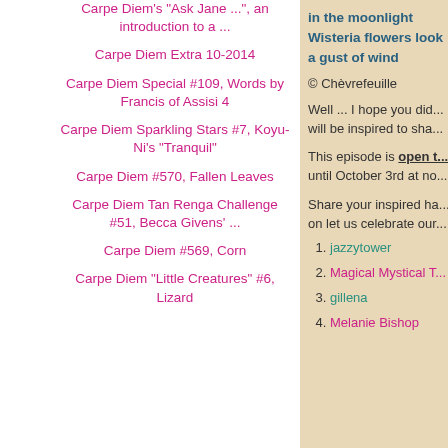Carpe Diem's "Ask Jane ...", an introduction to a ...
Carpe Diem Extra 10-2014
Carpe Diem Special #109, Words by Francis of Assisi 4
Carpe Diem Sparkling Stars #7, Koyu-Ni's "Tranquil"
Carpe Diem #570, Fallen Leaves
Carpe Diem Tan Renga Challenge #51, Becca Givens' ...
Carpe Diem #569, Corn
Carpe Diem "Little Creatures" #6, Lizard
in the moonlight
Wisteria flowers look
a gust of wind
© Chèvrefeuille
Well ... I hope you did ... will be inspired to sha...
This episode is open t... until October 3rd at no...
Share your inspired ha... on let us celebrate our...
jazzytower
Magical Mystical T...
gillena
Melanie Bishop